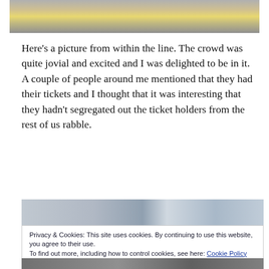[Figure (photo): Partial photo at top of page showing street scene with yellow taxi cab, cropped at top]
Here's a picture from within the line. The crowd was quite jovial and excited and I was delighted to be in it. A couple of people around me mentioned that they had their tickets and I thought that it was interesting that they hadn't segregated out the ticket holders from the rest of us rabble.
[Figure (photo): Photo showing urban street scene with buildings and bare trees, partially obscured by cookie consent banner]
Privacy & Cookies: This site uses cookies. By continuing to use this website, you agree to their use.
To find out more, including how to control cookies, see here: Cookie Policy
Close and accept
[Figure (photo): Bottom portion of another street photo, partially visible]